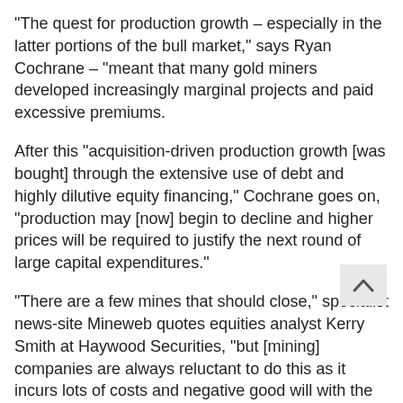“The quest for production growth – especially in the latter portions of the bull market,” says Ryan Cochrane – “meant that many gold miners developed increasingly marginal projects and paid excessive premiums.
After this “acquisition-driven production growth [was bought] through the extensive use of debt and highly dilutive equity financing,” Cochrane goes on, “production may [now] begin to decline and higher prices will be required to justify the next round of large capital expenditures.”
“There are a few mines that should close,” specialist news-site Mineweb quotes equities analyst Kerry Smith at Haywood Securities, “but [mining] companies are always reluctant to do this as it incurs lots of costs and negative good will with the unions. So they subsidize them as long as they can.
“Gold would probably need to stay at these levels for another six months to stimulate shutdowns.”
“General managers,” agrees Chuck Jeannes, CEO of world No.1 miner by market cap, Goldcorp Inc (NYSE:GG), “are